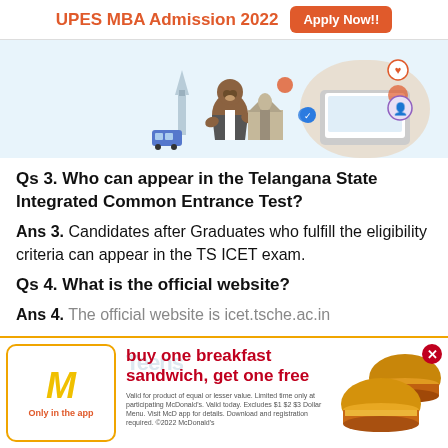UPES MBA Admission 2022   Apply Now!!
[Figure (illustration): Promotional illustration showing a cartoon bear mascot in a suit next to the Statue of Liberty, alongside a photo of a person working on a laptop, with social media and notification icons floating around. Light blue and warm background.]
Qs 3. Who can appear in the Telangana State Integrated Common Entrance Test?
Ans 3. Candidates after Graduates who fulfill the eligibility criteria can appear in the TS ICET exam.
Qs 4. What is the official website?
Ans 4. The official website is icet.tsche.ac.in
[Figure (illustration): McDonald's advertisement banner: McDonald's logo on left with 'Only in the app' text, bold red headline 'buy one breakfast sandwich, get one free', fine print below, and photo of two breakfast sandwiches on the right. Red close button (x) at top right.]